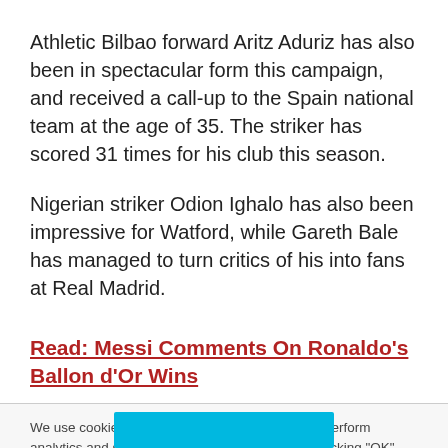Athletic Bilbao forward Aritz Aduriz has also been in spectacular form this campaign, and received a call-up to the Spain national team at the age of 35. The striker has scored 31 times for his club this season.
Nigerian striker Odion Ighalo has also been impressive for Watford, while Gareth Bale has managed to turn critics of his into fans at Real Madrid.
Read: Messi Comments On Ronaldo's Ballon d'Or Wins
We use cookies to improve your site experience, perform analytics and show you relevant advertising. By clicking "OK", you agree to the storing of cookies on your device. View our Privacy Portal  Cookie Policy &  Cookie FAQs